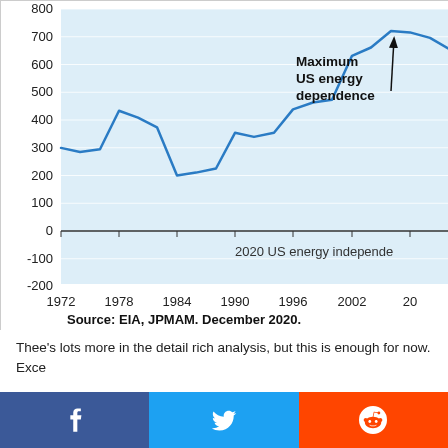[Figure (line-chart): Line chart showing US energy dependence from 1972 to ~2008, peaking near 715-720 around 2005-2008 labeled as Maximum US energy dependence, then declining. The 2020 US energy independence level is labeled below the zero line.]
Thee's lots more in the detail rich analysis, but this is enough for now. Exce